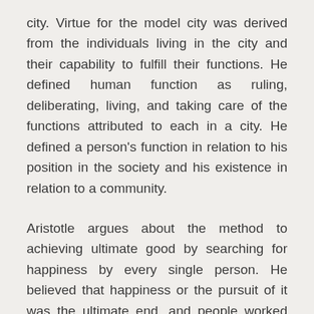city. Virtue for the model city was derived from the individuals living in the city and their capability to fulfill their functions. He defined human function as ruling, deliberating, living, and taking care of the functions attributed to each in a city. He defined a person's function in relation to his position in the society and his existence in relation to a community.
Aristotle argues about the method to achieving ultimate good by searching for happiness by every single person. He believed that happiness or the pursuit of it was the ultimate end, and people worked their way to achieve the ultimate end which is happiness. Happiness, according to Aristotle, was attained if one fulfilled one's reasons, functions, and expressions in the best way possible. His views